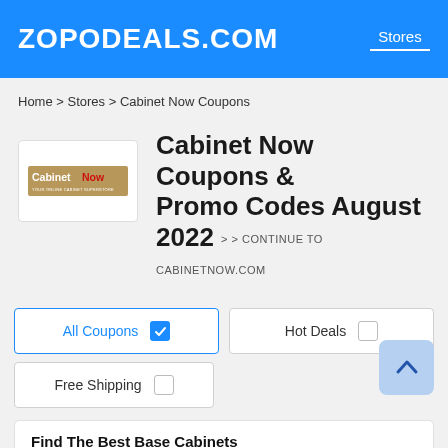ZOPODEALS.COM   Stores
Home > Stores > Cabinet Now Coupons
Cabinet Now Coupons & Promo Codes August 2022 > > CONTINUE TO CABINETNOW.COM
[Figure (logo): CabinetNow logo — dark tan background with white text 'CabinetNow' with red 'Now']
All Coupons [checked]   Hot Deals [unchecked]
Free Shipping [unchecked]
Find The Best Base Cabinets